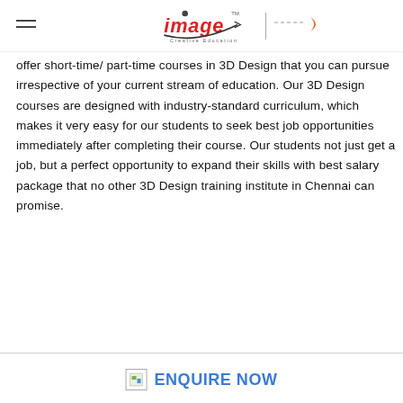[Figure (logo): Image Creative Education logo with hamburger menu icon and moon/dashed decoration]
offer short-time/ part-time courses in 3D Design that you can pursue irrespective of your current stream of education. Our 3D Design courses are designed with industry-standard curriculum, which makes it very easy for our students to seek best job opportunities immediately after completing their course. Our students not just get a job, but a perfect opportunity to expand their skills with best salary package that no other 3D Design training institute in Chennai can promise.
ENQUIRE NOW